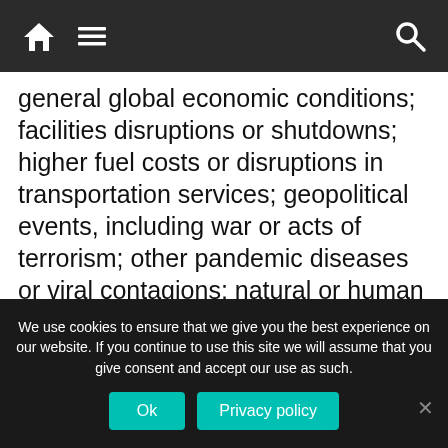Navigation bar with home, menu, and search icons
general global economic conditions; facilities disruptions or shutdowns; higher fuel costs or disruptions in transportation services; geopolitical events, including war or acts of terrorism; other pandemic diseases or viral contagions; natural or human induced disasters, extreme weather and other catastrophes or conditions; effects of climate change; competition for, or failure to attract, retain, train, motivate, and develop key employees; loss of key members of management; and other factors that can be found in our filings with the Securities
We use cookies to ensure that we give you the best experience on our website. If you continue to use this site we will assume that you give consent and accept our use as such.